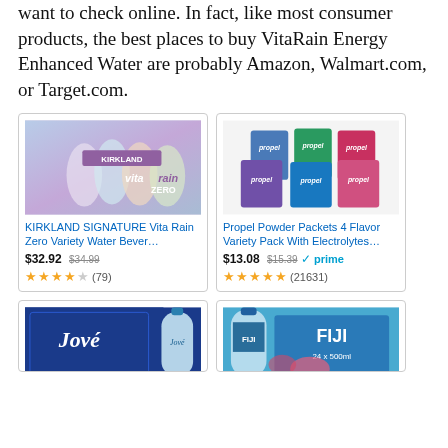want to check online. In fact, like most consumer products, the best places to buy VitaRain Energy Enhanced Water are probably Amazon, Walmart.com, or Target.com.
[Figure (photo): Product card: KIRKLAND SIGNATURE Vita Rain Zero Variety Water Bever... — photo of Kirkland VitaRain Zero variety pack. Price $32.92 (was $34.99). Rating 3.5/5 stars (79 reviews).]
[Figure (photo): Product card: Propel Powder Packets 4 Flavor Variety Pack With Electrolytes... — photo of Propel powder packet boxes in multiple colors. Price $13.08 (was $15.39), Prime. Rating 5/5 stars (21631 reviews).]
[Figure (photo): Product card: Jove water — photo of Jove water box and bottle (bottom of page, partially visible).]
[Figure (photo): Product card: FIJI water — photo of FIJI water bottle and box (bottom of page, partially visible).]